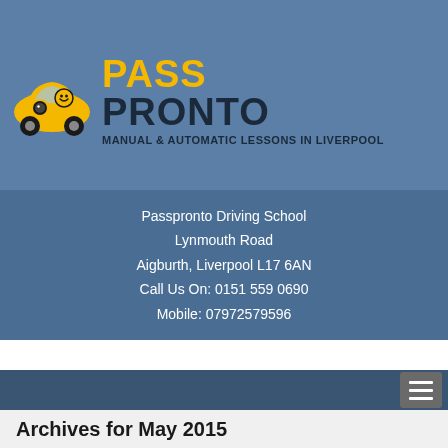[Figure (logo): Pass Pronto driving school logo with yellow car illustration and text 'PASS PRONTO MANUAL & AUTOMATIC LESSONS IN LIVERPOOL']
Passpronto Driving School
Lynmouth Road
Aigburth, Liverpool L17 6AN
Call Us On: 0151 559 0690
Mobile: 07972579596
Archives for May 2015
Get Your Driving Lessons Liverpool Fro...